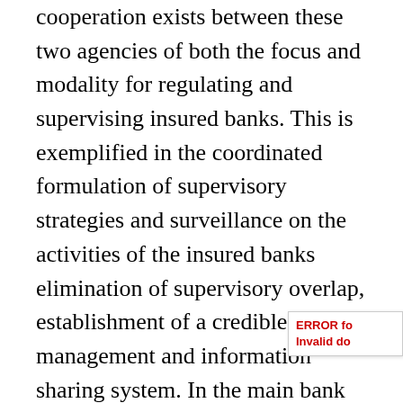cooperation exists between these two agencies of both the focus and modality for regulating and supervising insured banks. This is exemplified in the coordinated formulation of supervisory strategies and surveillance on the activities of the insured banks elimination of supervisory overlap, establishment of a credible data management and information sharing system. In the main bank supervision entails on site examination of the institutions and off-site analysis of periodically rendered prudential returns, a process called off site surveillance. The two activities are mutually reinforcing and are designed to timely identify and diagnose emerging problems individual banks with a view to prescribing the most efficient resolution options.